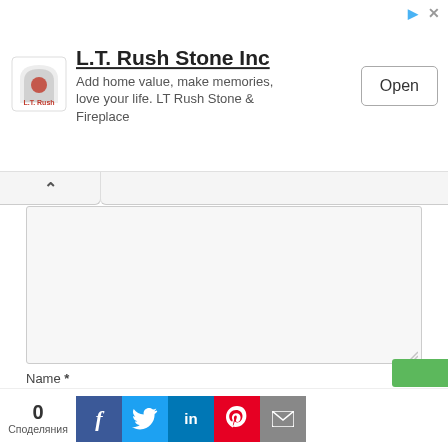[Figure (screenshot): Advertisement banner for L.T. Rush Stone Inc with logo, text 'Add home value, make memories, love your life. LT Rush Stone & Fireplace', and an Open button]
[Figure (screenshot): Web form area with collapse tab (chevron up), large comment textarea, Name field with input box, Email field with input box, Website field with input box, and partial green submit button]
Name *
Email *
Website
0 Споделяния | Facebook | Twitter | LinkedIn | Pinterest | Email